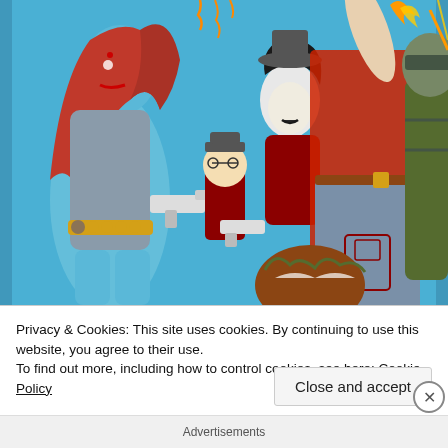[Figure (illustration): Comic book style illustration showing several superhero/villain characters including a blue-skinned red-haired female character (Mystique) holding a gun, a small character in a red uniform with a hat, a pale female character with black hair, a large central female character in a red top and jeans, a creature, and an armored character on the right. Background is blue.]
Privacy & Cookies: This site uses cookies. By continuing to use this website, you agree to their use.
To find out more, including how to control cookies, see here: Cookie Policy
Close and accept
Advertisements